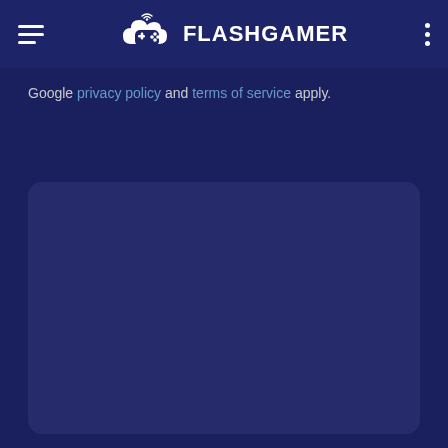FLASHGAMER
Google privacy policy and terms of service apply.
[Figure (other): Empty dark blue rounded rectangle content area]